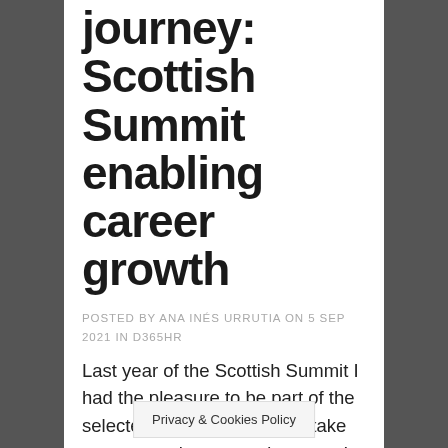journey: Scottish Summit enabling career growth
POSTED BY ANA INÉS URRUTIA ON 5 SEP 2021 IN D365HR
Last year of the Scottish Summit I had the pleasure to be part of the selected speakers and also take part as a volunteer and mentor. I shared a session around my beloved Dynamics 365 Human Resources (you can check it here: Ana Inés Urrutia – D365 HR Scottish S…
Privacy & Cookies Policy